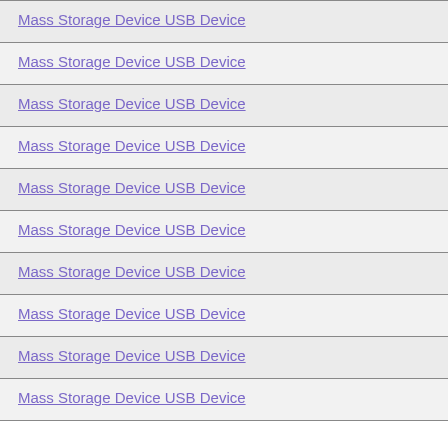Mass Storage Device USB Device
Mass Storage Device USB Device
Mass Storage Device USB Device
Mass Storage Device USB Device
Mass Storage Device USB Device
Mass Storage Device USB Device
Mass Storage Device USB Device
Mass Storage Device USB Device
Mass Storage Device USB Device
Mass Storage Device USB Device